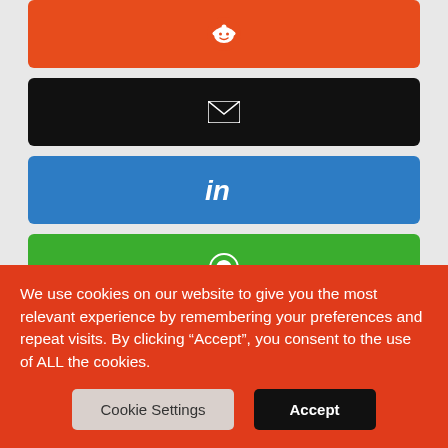[Figure (other): Reddit share button (orange background, Reddit alien icon in white)]
[Figure (other): Email share button (black background, envelope icon in white)]
[Figure (other): LinkedIn share button (blue background, 'in' icon in white)]
[Figure (other): WhatsApp share button (green background, WhatsApp phone icon in white)]
You may also like
[Figure (photo): Thumbnail image of a building with blue sky and trees on the left]
[Figure (photo): Thumbnail image with a grey/silver circular icon/logo on the right]
We use cookies on our website to give you the most relevant experience by remembering your preferences and repeat visits. By clicking “Accept”, you consent to the use of ALL the cookies.
Cookie Settings
Accept